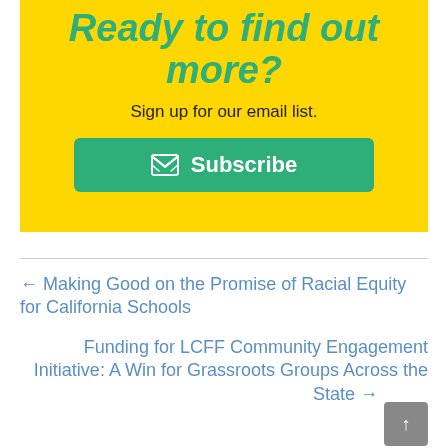Ready to find out more?
Sign up for our email list.
Subscribe
← Making Good on the Promise of Racial Equity for California Schools
Funding for LCFF Community Engagement Initiative: A Win for Grassroots Groups Across the State →